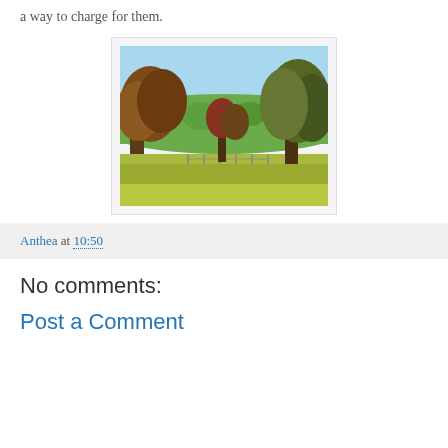a way to charge for them.
[Figure (photo): Outdoor landscape photo showing trees with autumn foliage in front of a grassy field, with a gentle hill and blue sky in the background.]
Anthea at 10:50
No comments:
Post a Comment